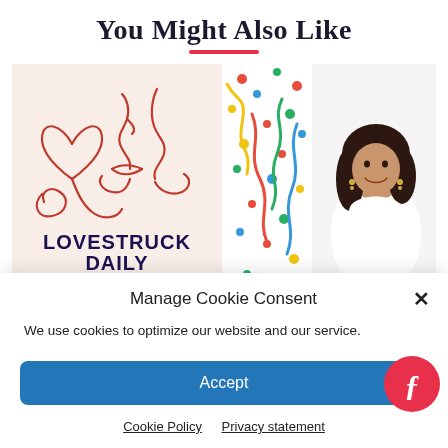You Might Also Like
[Figure (illustration): Lovestruck Daily podcast cover art with red line drawing of two faces and a heart on cream background, text 'LOVESTRUCK DAILY' in dark navy]
[Figure (photo): Colorful confetti and ribbons background with a woman in white lace top smiling]
Manage Cookie Consent
We use cookies to optimize our website and our service.
Accept
Cookie Policy    Privacy statement